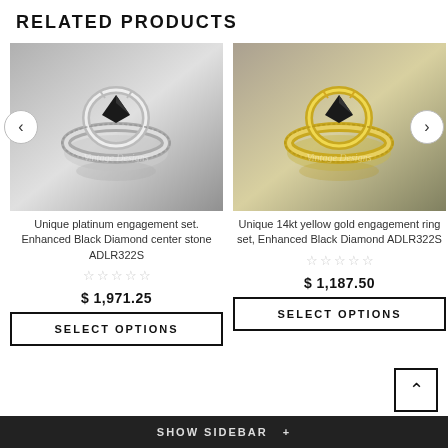RELATED PRODUCTS
[Figure (photo): Unique platinum engagement ring set with Enhanced Black Diamond center stone, displayed against gray background. Watermark: Vintage Designs.]
[Figure (photo): Unique 14kt yellow gold engagement ring set with Enhanced Black Diamond, displayed against gray background. Watermark: Vintage Designs.]
Unique platinum engagement set. Enhanced Black Diamond center stone ADLR322S
Unique 14kt yellow gold engagement ring set, Enhanced Black Diamond ADLR322S
$ 1,971.25
$ 1,187.50
SELECT OPTIONS
SELECT OPTIONS
SHOW SIDEBAR  +